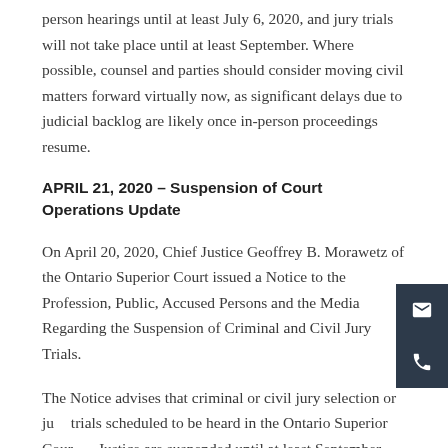person hearings until at least July 6, 2020, and jury trials will not take place until at least September. Where possible, counsel and parties should consider moving civil matters forward virtually now, as significant delays due to judicial backlog are likely once in-person proceedings resume.
APRIL 21, 2020 – Suspension of Court Operations Update
On April 20, 2020, Chief Justice Geoffrey B. Morawetz of the Ontario Superior Court issued a Notice to the Profession, Public, Accused Persons and the Media Regarding the Suspension of Criminal and Civil Jury Trials.
The Notice advises that criminal or civil jury selection or jury trials scheduled to be heard in the Ontario Superior Court of Justice are suspended until at least September 2020. The Court will monitor the situation and provide further direct